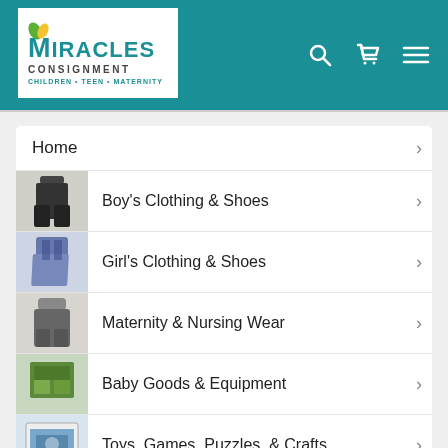[Figure (logo): Miracles Consignment logo — Children • Teen • Maternity — white box with teal text on teal header background]
[Figure (screenshot): Header navigation icons: search (magnifying glass), cart, and hamburger menu — white icons on teal background]
Home
Boy's Clothing & Shoes
Girl's Clothing & Shoes
Maternity & Nursing Wear
Baby Goods & Equipment
Toys, Games, Puzzles, & Crafts
About Us